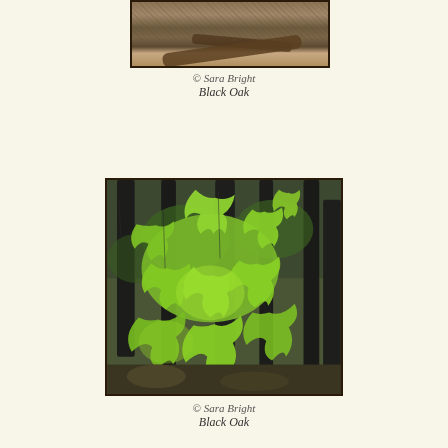[Figure (photo): Partial photo (cropped at top) of a forest floor showing dirt, logs, and dry vegetation — Black Oak habitat]
© Sara Bright
Black Oak
[Figure (photo): Photo of a young Black Oak sapling with large bright green lobed leaves, set against a dark forest backdrop with tall tree trunks and green undergrowth]
© Sara Bright
Black Oak